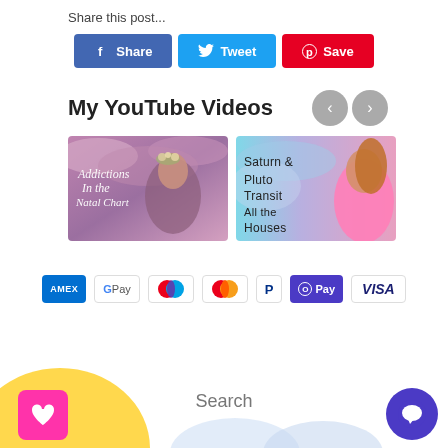Share this post...
[Figure (screenshot): Social sharing buttons: Facebook Share, Twitter Tweet, Pinterest Save]
My YouTube Videos
[Figure (screenshot): YouTube video thumbnail: Addictions In the Natal Chart - woman with flower crown]
[Figure (screenshot): YouTube video thumbnail: Saturn & Pluto Transit All the Houses - woman in pink]
[Figure (screenshot): Payment method icons: AMEX, Google Pay, Maestro, Mastercard, PayPal, OPay, VISA]
Search
[Figure (illustration): Bottom decoration: yellow sun semicircle, pink wishlist heart button, purple chat button, cloud decorations]